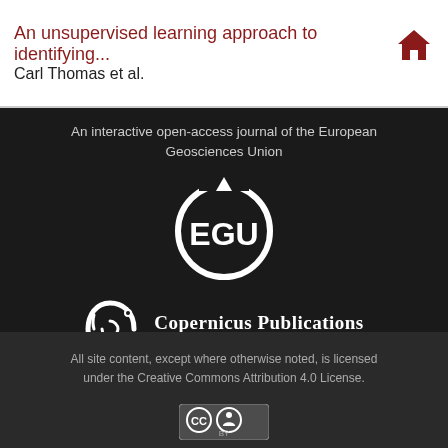An unsupervised learning approach to identifying...
Carl Thomas et al.
[Figure (logo): EGU (European Geosciences Union) circular logo in white on dark background]
An interactive open-access journal of the European Geosciences Union
[Figure (logo): Copernicus Publications logo with stylized C icon and text 'Copernicus Publications - The Innovative Open Access Publisher']
All site content, except where otherwise noted, is licensed under the Creative Commons Attribution 4.0 License.
[Figure (logo): Creative Commons CC BY license badge]
Contact | Imprint | Data protection